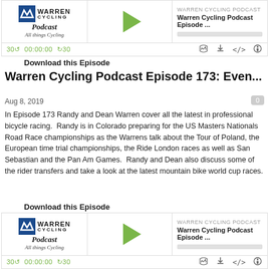[Figure (screenshot): Warren Cycling Podcast audio player widget with logo, play button, time controls (30s rewind, 00:00:00 timestamp, 30s forward), and action icons]
Download this Episode
Warren Cycling Podcast Episode 173: Even...
Aug 8, 2019
In Episode 173 Randy and Dean Warren cover all the latest in professional bicycle racing.  Randy is in Colorado preparing for the US Masters Nationals Road Race championships as the Warrens talk about the Tour of Poland, the European time trial championships, the Ride London races as well as San Sebastian and the Pan Am Games.  Randy and Dean also discuss some of the rider transfers and take a look at the latest mountain bike world cup races.
[Figure (screenshot): Warren Cycling Podcast audio player widget with logo, play button, time controls (30s rewind, 00:00:00 timestamp, 30s forward), and action icons]
Download this Episode